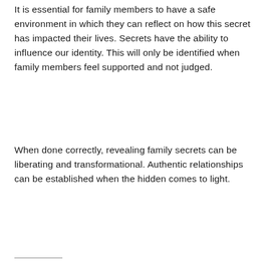It is essential for family members to have a safe environment in which they can reflect on how this secret has impacted their lives. Secrets have the ability to influence our identity. This will only be identified when family members feel supported and not judged.
When done correctly, revealing family secrets can be liberating and transformational. Authentic relationships can be established when the hidden comes to light.